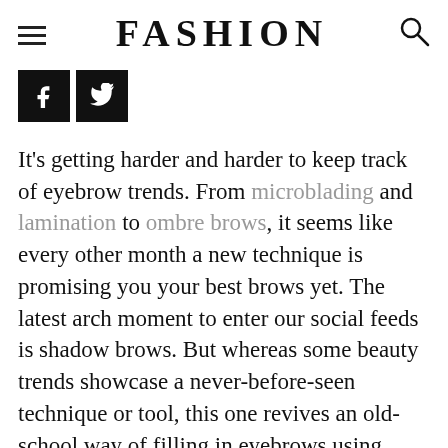FASHION
[Figure (logo): Social share buttons: Facebook (f) and Twitter (bird) icons in black square buttons]
It's getting harder and harder to keep track of eyebrow trends. From microblading and lamination to ombre brows, it seems like every other month a new technique is promising you your best brows yet. The latest arch moment to enter our social feeds is shadow brows. But whereas some beauty trends showcase a never-before-seen technique or tool, this one revives an old-school way of filling in eyebrows using powder. For the beauty newbies who were too...